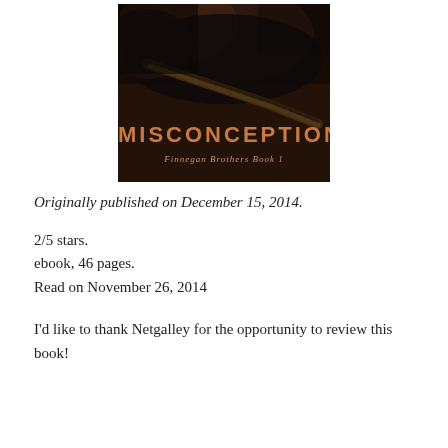[Figure (illustration): Book cover for 'Misconception: Finnegan Brothers Book 1' — dark background with close-up of a woman's braided hair and shoulder; title 'MISCONCEPTION' in copper/orange uppercase letters, subtitle 'Finnegan Brothers Book 1' in italic script below.]
Originally published on December 15, 2014.
2/5 stars.
ebook, 46 pages.
Read on November 26, 2014
I'd like to thank Netgalley for the opportunity to review this book!